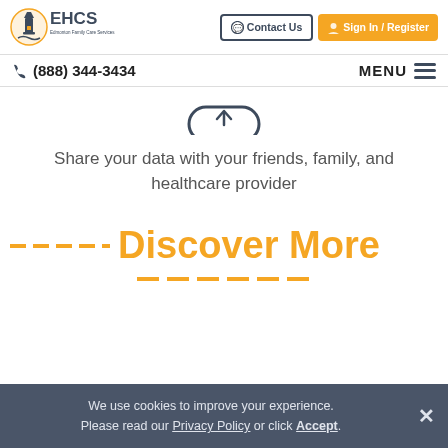[Figure (logo): EHCS lighthouse logo with company name 'EHCS' and tagline]
Contact Us
Sign In / Register
(888) 344-3434
MENU
[Figure (illustration): Share icon - partial visible at top]
Share your data with your friends, family, and healthcare provider
Discover More
We use cookies to improve your experience. Please read our Privacy Policy or click Accept.